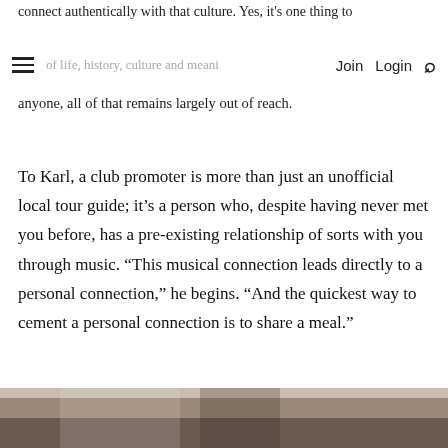connect authentically with that culture. Yes, it's one thing to be ...of life, history, culture and meaning... | Join | Login | [search]
anyone, all of that remains largely out of reach.
To Karl, a club promoter is more than just an unofficial local tour guide; it’s a person who, despite having never met you before, has a pre-existing relationship of sorts with you through music. “This musical connection leads directly to a personal connection,” he begins. “And the quickest way to cement a personal connection is to share a meal.”
[Figure (photo): Bottom strip of a photograph, dark toned interior scene, partially visible at the bottom of the page.]